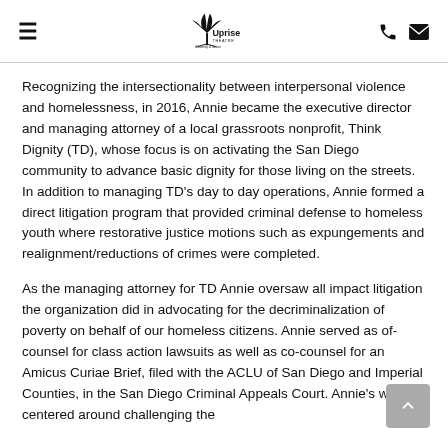Uprise Theatre (logo with hamburger menu, phone icon, mail icon)
Recognizing the intersectionality between interpersonal violence and homelessness, in 2016, Annie became the executive director and managing attorney of a local grassroots nonprofit, Think Dignity (TD), whose focus is on activating the San Diego community to advance basic dignity for those living on the streets. In addition to managing TD's day to day operations, Annie formed a direct litigation program that provided criminal defense to homeless youth where restorative justice motions such as expungements and realignment/reductions of crimes were completed.
As the managing attorney for TD Annie oversaw all impact litigation the organization did in advocating for the decriminalization of poverty on behalf of our homeless citizens. Annie served as of-counsel for class action lawsuits as well as co-counsel for an Amicus Curiae Brief, filed with the ACLU of San Diego and Imperial Counties, in the San Diego Criminal Appeals Court. Annie's work centered around challenging the